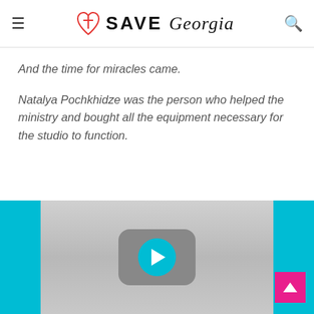SAVE Georgia
And the time for miracles came.
Natalya Pochkhidze was the person who helped the ministry and bought all the equipment necessary for the studio to function.
[Figure (screenshot): Embedded video player with a cyan play button on a grey background, flanked by cyan and black side bars]